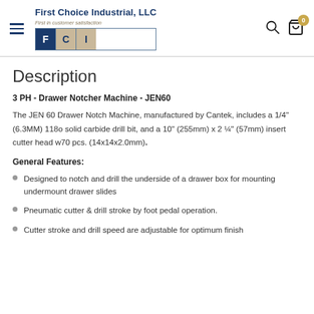First Choice Industrial, LLC - First in customer satisfaction
Description
3 PH - Drawer Notcher Machine - JEN60
The JEN 60 Drawer Notch Machine, manufactured by Cantek, includes a 1/4" (6.3MM) 118o solid carbide drill bit, and a 10" (255mm) x 2 ¼" (57mm) insert cutter head w70 pcs. (14x14x2.0mm).
General Features:
Designed to notch and drill the underside of a drawer box for mounting undermount drawer slides
Pneumatic cutter & drill stroke by foot pedal operation.
Cutter stroke and drill speed are adjustable for optimum finish